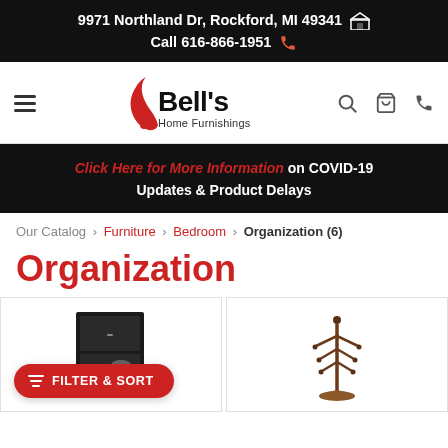9971 Northland Dr, Rockford, MI 49341 🏠
Call 616-866-1951 📞
[Figure (logo): Bell's Home Furnishings logo with red cursive flourish and black bold text]
Click Here for More Information on COVID-19 Updates & Product Delays
Our Catalog › Furniture › Bedroom › Organization (6)
Organization
[Figure (photo): Two product images: a dark shoe cabinet organizer and a wooden coat rack/hall tree]
FILTER & SORT